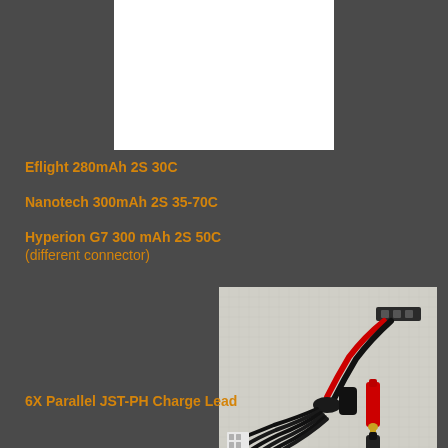[Figure (photo): Top image area showing a partially visible product image with white background box]
Eflight 280mAh 2S 30C
Nanotech 300mAh 2S 35-70C
Hyperion G7 300 mAh 2S 50C
(different connector)
[Figure (photo): 6X Parallel JST-PH Charge Lead - a multi-connector charging cable with banana plugs on one end and six JST-PH white connectors on the other, with red and black wires]
6X Parallel JST-PH Charge Lead